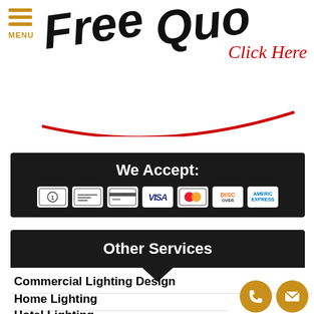[Figure (illustration): Top banner with 'Free Quote' handwritten text in black, 'Click Here' in red cursive, a red arc underline, and a hamburger menu icon with MENU label in orange/gold on the left]
[Figure (infographic): Black banner reading 'We Accept:' with payment method icons: cash, check, credit card, VISA, Mastercard, Discover, American Express]
Other Services
Commercial Lighting Design
Home Lighting
Hotel Lighting